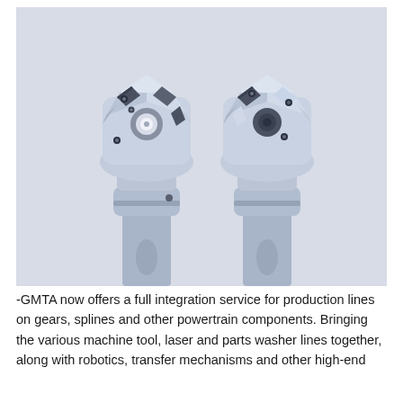[Figure (photo): Two metallic milling/chamfering tool heads with indexable inserts mounted on cylindrical shanks, shown side by side against a light gray background. The tools are blue-gray in color with dark cutting inserts and visible mounting screws.]
-GMTA now offers a full integration service for production lines on gears, splines and other powertrain components. Bringing the various machine tool, laser and parts washer lines together, along with robotics, transfer mechanisms and other high-end